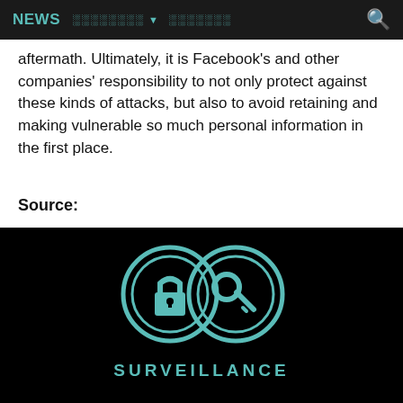NEWS   ░░░░░░░░▼ ░░░░░░░
aftermath. Ultimately, it is Facebook's and other companies' responsibility to not only protect against these kinds of attacks, but also to avoid retaining and making vulnerable so much personal information in the first place.
Source:
https://www.eff.org/deeplinks/2018/10/what-do-if-your-account-was-caught-faceboo...
[Figure (logo): Surveillance organization logo with two interlocking circles containing a padlock and a key, in teal on a black background, with partial text 'SURVEILLANCE' below]